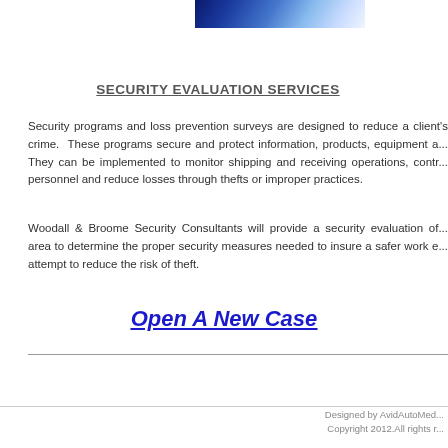[Figure (photo): Decorative banner/header image with blue gradient design]
SECURITY EVALUATION SERVICES
Security programs and loss prevention surveys are designed to reduce a client's crime. These programs secure and protect information, products, equipment a... They can be implemented to monitor shipping and receiving operations, contr... personnel and reduce losses through thefts or improper practices.
Woodall & Broome Security Consultants will provide a security evaluation of... area to determine the proper security measures needed to insure a safer work e... attempt to reduce the risk of theft.
Open A New Case
Designed by AvidAutoMed... Copyright 2012.All rights r...